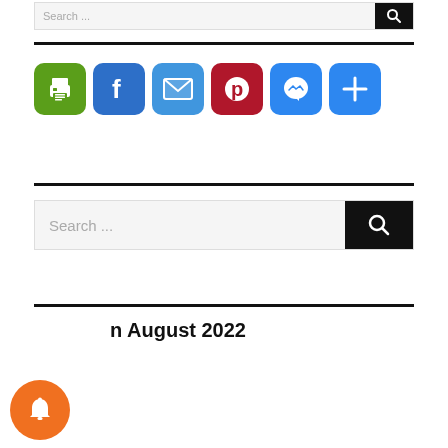[Figure (screenshot): Search bar with text 'Search ...' and black search button icon at top]
[Figure (infographic): Row of 6 social sharing icons: print (green), Facebook (blue), email (blue), Pinterest (red), Messenger (blue), more/plus (blue)]
[Figure (screenshot): Search bar with text 'Search ...' and black search button icon]
n August 2022
[Figure (infographic): Orange circular notification bell button at bottom left]